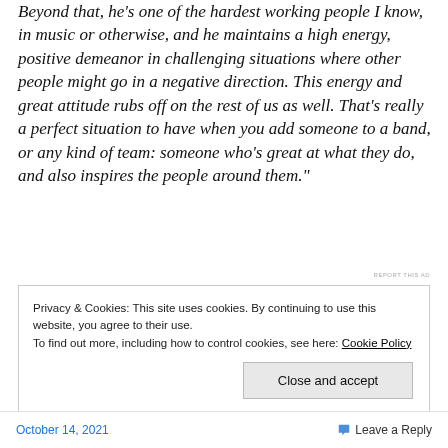Beyond that, he's one of the hardest working people I know, in music or otherwise, and he maintains a high energy, positive demeanor in challenging situations where other people might go in a negative direction. This energy and great attitude rubs off on the rest of us as well. That's really a perfect situation to have when you add someone to a band, or any kind of team: someone who's great at what they do, and also inspires the people around them."
REPORT THIS AD
Privacy & Cookies: This site uses cookies. By continuing to use this website, you agree to their use.
To find out more, including how to control cookies, see here: Cookie Policy
Close and accept
October 14, 2021    Leave a Reply